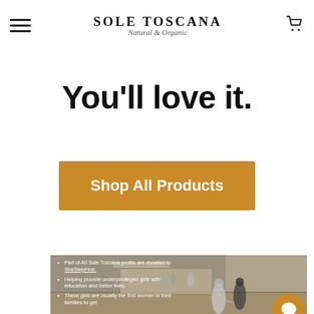Sole Toscana Natural & Organic
You'll love it.
Shop All Products
[Figure (photo): Street scene in Tuscany with outdoor dining tables and two young girls holding hands in the foreground. Overlay text lists: Part of All Sole Toscana profits are donated to SheStepFirst. Helping provide underprivileged girls with education and better lives. These girls are usually the first women in their families to get...]
Part of All Sole Toscana profits are donated to SheStepFirst.
Helping provide underprivileged girls with education and better lives.
These girls are usually the first women in their families to get